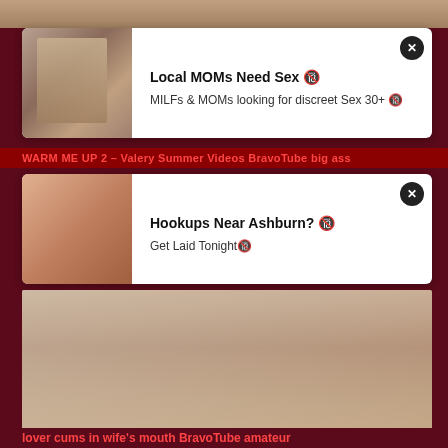[Figure (screenshot): Top partial strip of an adult video thumbnail]
[Figure (screenshot): Ad popup: Local MOMs Need Sex. MILFs & MOMs looking for discreet Sex 30+]
WARM ME UP 2 – Valery Summer Videos BravoTube big ass
[Figure (screenshot): Ad popup: Hookups Near Ashburn? Get Laid Tonight]
[Figure (photo): Adult video thumbnail showing a woman, duration 1:06]
lover cums in wife's mouth BravoTube amateur